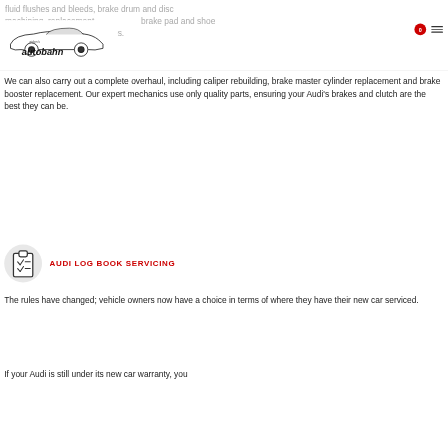fluid flushes and bleeds, brake drum and disc machining, replacement brake pad and shoe replacement and brake upgrades.
[Figure (logo): Eiden's Autobahn logo with stylized car silhouette above the text]
We can also carry out a complete overhaul, including caliper rebuilding, brake master cylinder replacement and brake booster replacement. Our expert mechanics use only quality parts, ensuring your Audi's brakes and clutch are the best they can be.
[Figure (illustration): Clipboard with checklist icon inside a light grey circle]
AUDI LOG BOOK SERVICING
The rules have changed; vehicle owners now have a choice in terms of where they have their new car serviced.
If your Audi is still under its new car warranty, you